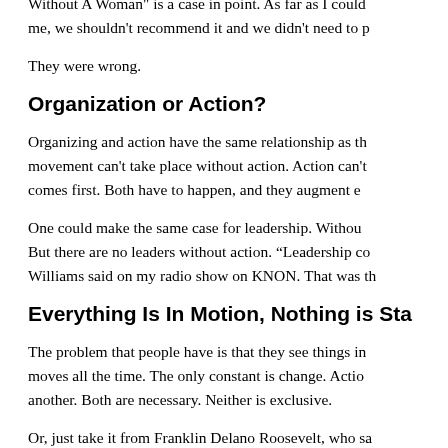Without A Woman" is a case in point. As far as I could me, we shouldn't recommend it and we didn't need to p
They were wrong.
Organization or Action?
Organizing and action have the same relationship as th movement can't take place without action. Action can't comes first. Both have to happen, and they augment e
One could make the same case for leadership. Withou But there are no leaders without action. "Leadership co Williams said on my radio show on KNON. That was th
Everything Is In Motion, Nothing is Sta
The problem that people have is that they see things in moves all the time. The only constant is change. Actio another. Both are necessary. Neither is exclusive.
Or, just take it from Franklin Delano Roosevelt, who sa doesn't, do something else. But above all, do somethin